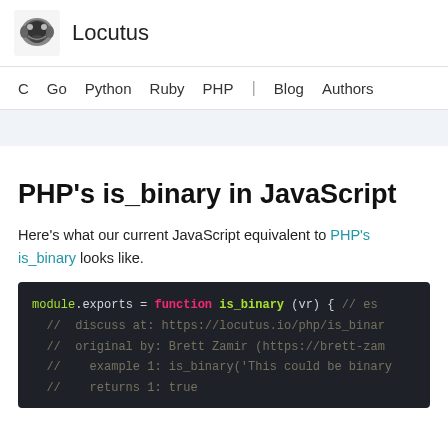Locutus
C  Go  Python  Ruby  PHP  |  Blog  Authors
PHP's is_binary in JavaScript
Here's what our current JavaScript equivalent to PHP's is_binary looks like.
[Figure (screenshot): Code block on dark background showing JavaScript module.exports = function is_binary (vr) { // es... with comments: discuss at, original by: Brett Zamir, example 1: is_binary('This could be binary), returns 1: true]